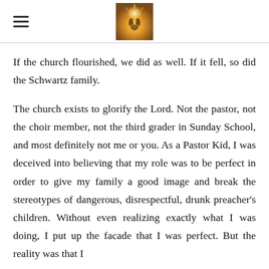[hamburger menu icon] [header image]
If the church flourished, we did as well. If it fell, so did the Schwartz family.
The church exists to glorify the Lord. Not the pastor, not the choir member, not the third grader in Sunday School, and most definitely not me or you. As a Pastor Kid, I was deceived into believing that my role was to be perfect in order to give my family a good image and break the stereotypes of dangerous, disrespectful, drunk preacher’s children. Without even realizing exactly what I was doing, I put up the facade that I was perfect. But the reality was that I